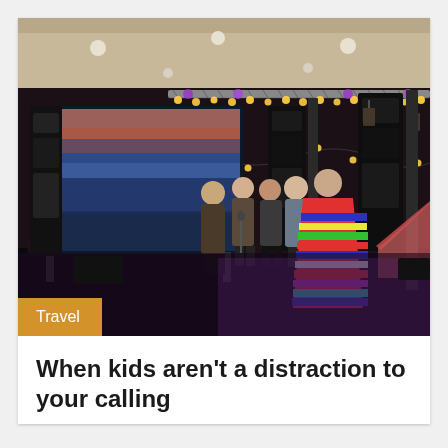[Figure (photo): Indoor stage event photo showing several people standing on a stage with string lights hanging overhead, large speaker towers, a projection screen on the left showing a travel/ocean scene, and a colorful striped poncho worn by a person in the foreground center. The venue appears to be a hotel ballroom or conference hall decorated for an event.]
Travel
When kids aren't a distraction to your calling